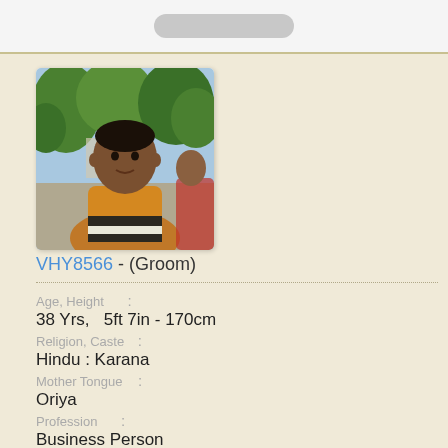[Figure (photo): Photo of a man in a yellow/mustard top with dark stripes, outdoors with trees in background]
VHY8566 - (Groom)
Age, Height
38 Yrs,   5ft 7in - 170cm
Religion, Caste
Hindu : Karana
Mother Tongue
Oriya
Profession
Business Person
Education